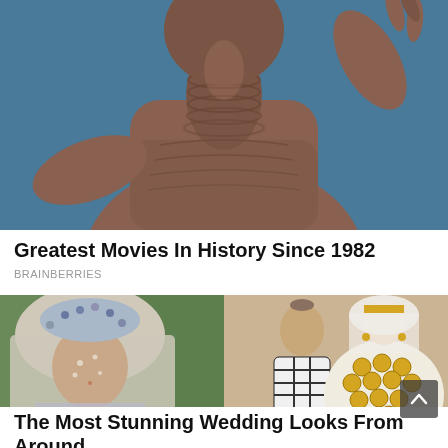[Figure (photo): Close-up photo of E.T. the Extra-Terrestrial character from the 1982 movie, showing upper torso and neck with wrinkled alien skin, hand raised, against blue background]
Greatest Movies In History Since 1982
BRAINBERRIES
[Figure (photo): Two side-by-side photos: left shows a woman in elaborate traditional beaded headdress and costume with decorated face; right shows a couple in traditional wedding attire, woman in white veil covered with gold coins, man in black and white patterned clothing]
The Most Stunning Wedding Looks From Around